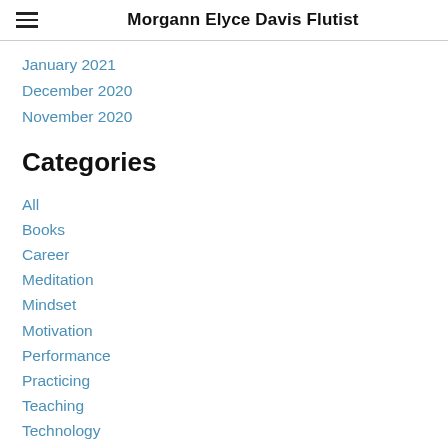Morgann Elyce Davis Flutist
January 2021
December 2020
November 2020
Categories
All
Books
Career
Meditation
Mindset
Motivation
Performance
Practicing
Teaching
Technology
Tool Box
Yoga